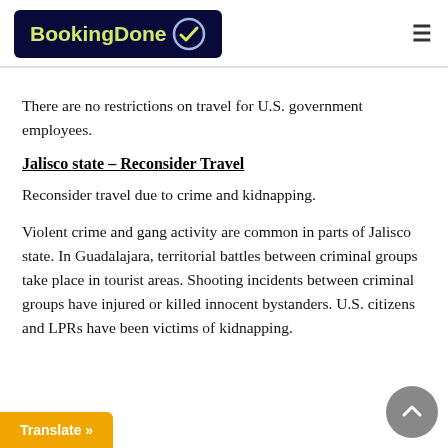[Figure (logo): BookingDone logo with dark navy background and checkmark icon]
There are no restrictions on travel for U.S. government employees.
Jalisco state – Reconsider Travel
Reconsider travel due to crime and kidnapping.
Violent crime and gang activity are common in parts of Jalisco state. In Guadalajara, territorial battles between criminal groups take place in tourist areas. Shooting incidents between criminal groups have injured or killed innocent bystanders. U.S. citizens and LPRs have been victims of kidnapping.